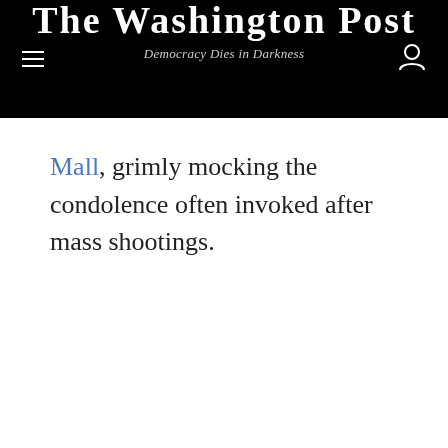The Washington Post
Democracy Dies in Darkness
Mall, grimly mocking the condolence often invoked after mass shootings.